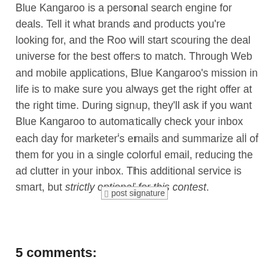Blue Kangaroo is a personal search engine for deals. Tell it what brands and products you're looking for, and the Roo will start scouring the deal universe for the best offers to match. Through Web and mobile applications, Blue Kangaroo's mission in life is to make sure you always get the right offer at the right time. During signup, they'll ask if you want Blue Kangaroo to automatically check your inbox each day for marketer's emails and summarize all of them for you in a single colorful email, reducing the ad clutter in your inbox. This additional service is smart, but strictly optional for this contest.
[Figure (other): Post signature image]
5 comments: